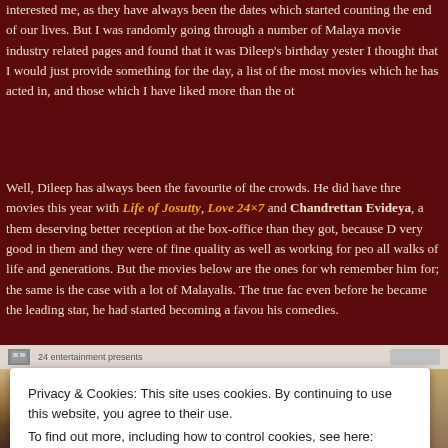interested me, as they have always been the dates which started counting the end of our lives. But I was randomly going through a number of Malayalam movie industry related pages and found that it was Dileep's birthday yesterday. I thought that I would just provide something for the day, a list of the most movies which he has acted in, and those which I have liked more than the others.
Well, Dileep has always been the favourite of the crowds. He did have three movies this year with Life of Josutty, Love 24×7 and Chandrettan Evideya, all of them deserving better reception at the box-office than they got, because Dileep was very good in them and they were of fine quality as well as working for people of all walks of life and generations. But the movies below are the ones for which I remember him for; the same is the case with a lot of Malayalis. The true fact is, even before he became the leading star, he had started becoming a favourite with his comedies.
[Figure (screenshot): Screenshot of a Malayalam movie industry website page, showing a top bar with site logo/icon and '24 entertainment presents' text, with movie-related imagery below.]
Privacy & Cookies: This site uses cookies. By continuing to use this website, you agree to their use.
To find out more, including how to control cookies, see here: Cookie Policy